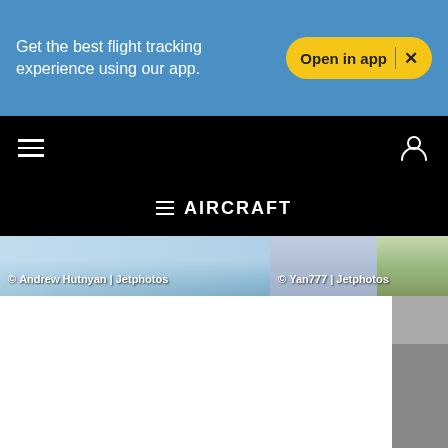Get the best flight tracking experience using our app. | Open in app | X
[Figure (screenshot): Mobile app navigation bar with hamburger menu on left and user icon on right, black background]
≡ AIRCRAFT
[Figure (photo): Two aircraft photos side by side. Left photo credited to Andrew Hutnyan | Jetphotos. Right photo credited to Yan777 | Jetphotos.]
© Andrew Hutnyan | Jetphotos
© Yan777 | Jetphotos